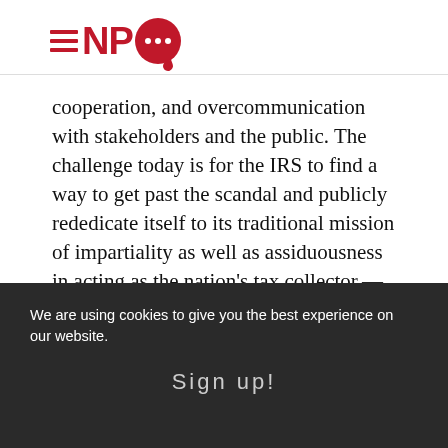[Figure (logo): NPQ (Nonprofit Quarterly) logo with hamburger menu lines, red NPQ text, and red speech bubble with three white dots]
cooperation, and overcommunication with stakeholders and the public. The challenge today is for the IRS to find a way to get past the scandal and publicly rededicate itself to its traditional mission of impartiality as well as assiduousness in acting as the nation's tax collector.—Michael Wyland
[Figure (infographic): Row of five circular share buttons: Facebook, Twitter/X, LinkedIn, Email, Print]
We are using cookies to give you the best experience on our website.
Sign up!